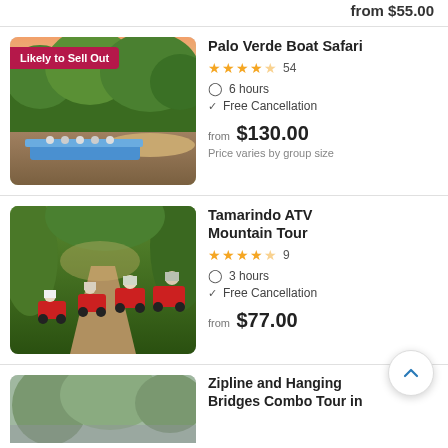from $55.00
[Figure (photo): Boat safari on a river with lush green trees. A flat blue boat with passengers is seen on the river. Badge reads 'Likely to Sell Out'.]
Palo Verde Boat Safari
★★★★½  54
6 hours
Free Cancellation
from $130.00
Price varies by group size
[Figure (photo): Group of riders on red ATVs on a dirt trail through jungle vegetation.]
Tamarindo ATV Mountain Tour
★★★★½  9
3 hours
Free Cancellation
from $77.00
[Figure (photo): Partial view of trees/zipline area, card cut off at bottom.]
Zipline and Hanging Bridges Combo Tour in